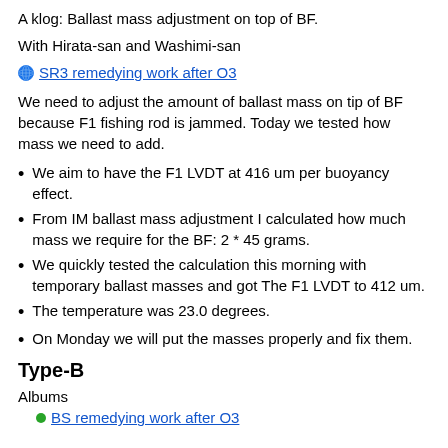A klog: Ballast mass adjustment on top of BF.
With Hirata-san and Washimi-san
SR3 remedying work after O3
We need to adjust the amount of ballast mass on tip of BF because F1 fishing rod is jammed. Today we tested how mass we need to add.
We aim to have the F1 LVDT at 416 um per buoyancy effect.
From IM ballast mass adjustment I calculated how much mass we require for the BF: 2 * 45 grams.
We quickly tested the calculation this morning with temporary ballast masses and got The F1 LVDT to 412 um.
The temperature was 23.0 degrees.
On Monday we will put the masses properly and fix them.
Type-B
Albums
BS remedying work after O3